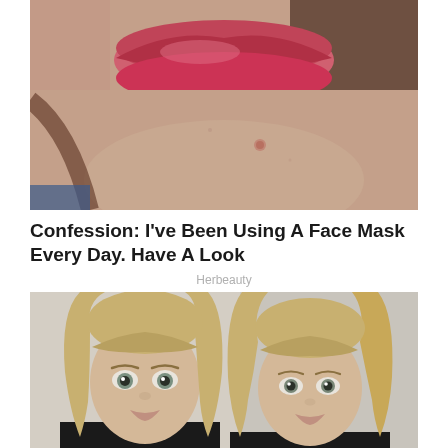[Figure (photo): Close-up photo of a person's lower face showing lips with red lipstick and skin with a small blemish/pimple on the cheek]
Confession: I've Been Using A Face Mask Every Day. Have A Look
Herbeauty
[Figure (photo): Photo of two young blonde girls with long straight hair and light eyes facing the camera, side by side]